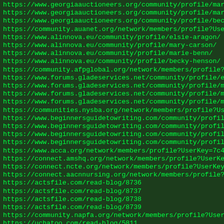List of URLs including georgiaauctioneers.org, auanet.org, alinnova.eu, afpglobal.org, forums.gladeservices.net, communities.nysba.org, beginnersguidetowriting.com, acca.org, connect.amshq.org, connect.ncte.org, connect.aacnnursing.org, actsfile.com, community.napfa.org, uchatoo.com profile and blog links